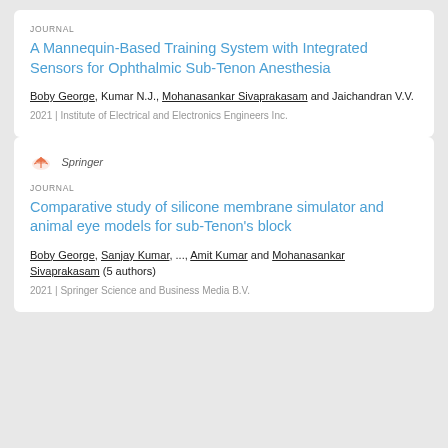JOURNAL
A Mannequin-Based Training System with Integrated Sensors for Ophthalmic Sub-Tenon Anesthesia
Boby George, Kumar N.J., Mohanasankar Sivaprakasam and Jaichandran V.V.
2021 | Institute of Electrical and Electronics Engineers Inc.
[Figure (logo): Springer publisher logo with orange book icon and italic Springer text]
JOURNAL
Comparative study of silicone membrane simulator and animal eye models for sub-Tenon’s block
Boby George, Sanjay Kumar, ..., Amit Kumar and Mohanasankar Sivaprakasam (5 authors)
2021 | Springer Science and Business Media B.V.